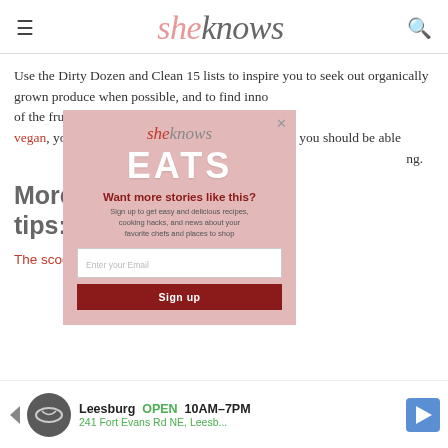sheknows
Use the Dirty Dozen and Clean 15 lists to inspire you to seek out organically grown produce when possible, and to find innovative ways to incorporate all of the fruits and vegetables you buy each week. As a vegan, your diet is completely plant-based, meaning you should be able to easily incorporate these fruits and vegetables into your daily meal planning.
[Figure (screenshot): SheKnows EATS newsletter signup modal popup with email input and Sign up button]
More hea... and tips:
The scoop on antibiotic-free chicken
[Figure (infographic): Advertisement banner for Leesburg store showing OPEN 10AM-7PM, 241 Fort Evans Rd NE, Leesb...]